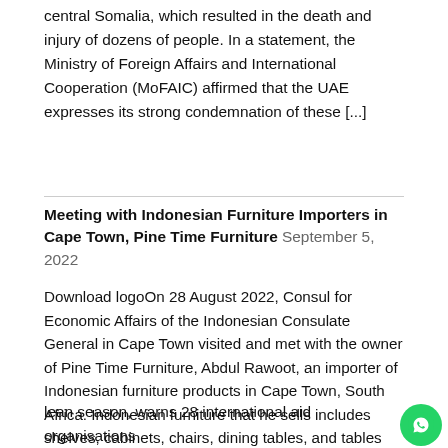central Somalia, which resulted in the death and injury of dozens of people. In a statement, the Ministry of Foreign Affairs and International Cooperation (MoFAIC) affirmed that the UAE expresses its strong condemnation of these [...]
Meeting with Indonesian Furniture Importers in Cape Town, Pine Time Furniture  September 5, 2022
Download logoOn 28 August 2022, Consul for Economic Affairs of the Indonesian Consulate General in Cape Town visited and met with the owner of Pine Time Furniture, Abdul Rawoot, an importer of Indonesian furniture products in Cape Town, South Africa. Indonesian furniture that he sells includes shelves, cabinets, chairs, dining tables, and tables made of [...]
Privacy & Cookies: This site uses cookies. By continuing to use this website, you agree to their use.
To find out more, including how to control cookies, see here: Cookie Policy
Close and accept
lean season, warns 28 international aid organisations